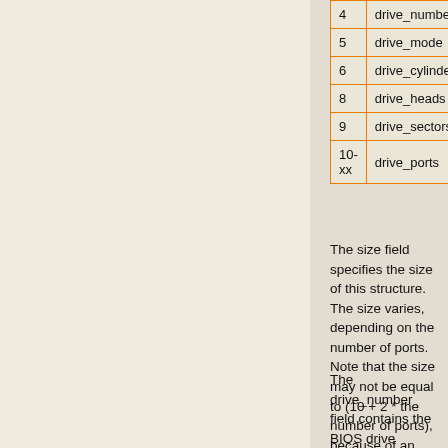| Offset | Field |
| --- | --- |
| 4 | drive_number |
| 5 | drive_mode |
| 6 | drive_cylinders |
| 8 | drive_heads |
| 9 | drive_sectors |
| 10-xx | drive_ports |
The size field specifies the size of this structure. The size varies, depending on the number of ports. Note that the size may not be equal to (10 + 2 * the number of ports), because of an alignment.
The drive_number field contains the BIOS drive number. The drive_mode field represents the access mode used by the kernel loader. Currently